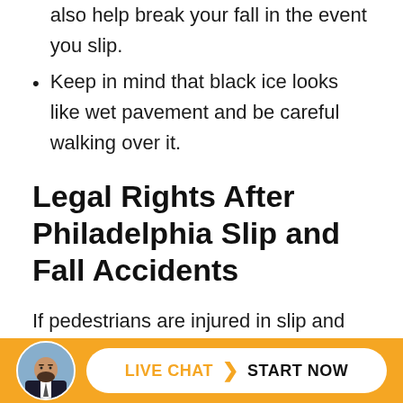will allow you to use your hands to balance, and also help break your fall in the event you slip.
Keep in mind that black ice looks like wet pavement and be careful walking over it.
Legal Rights After Philadelphia Slip and Fall Accidents
If pedestrians are injured in slip and fall accidents due to snow or ice, they may have legal rights. For instance, if a pedestrian walking through Center City Philadelphia to get to work slips and falls on an icy sidewalk in front of a store and gets injured, she may have legal rights against the store or the party
[Figure (infographic): Live chat bar with lawyer avatar photo, orange background, white pill-shaped button with LIVE CHAT > START NOW text]